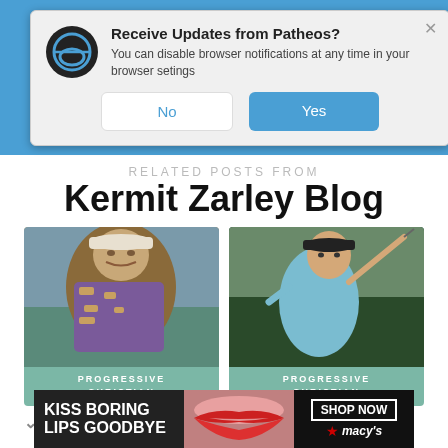[Figure (screenshot): Browser notification dialog from Patheos asking 'Receive Updates from Patheos?' with No and Yes buttons]
RELATED POSTS FROM
Kermit Zarley Blog
[Figure (photo): Photo of Tom Weiskopf, older golfer in patterned shirt and white cap, with 'Progressive Christian' label overlay]
[Figure (photo): Photo of Patrick Cantlay swinging a golf club, with 'Progressive Christian' label overlay]
Tom Weiskopf Died
Patrick Cantlay Wins
[Figure (screenshot): Macy's advertisement banner: 'Kiss Boring Lips Goodbye' with Shop Now button and Macy's star logo]